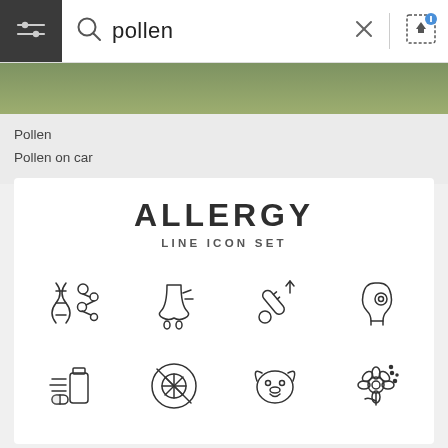[Figure (screenshot): Search bar UI with hamburger menu, search icon, text input showing 'pollen', X close button, divider, and image upload icon]
[Figure (photo): Partial nature/foliage image strip]
Pollen
Pollen on car
ALLERGY
LINE ICON SET
[Figure (illustration): Allergy line icon set grid showing 12 icons in 3 rows of 4: Row 1: DNA/molecules, runny nose, thermometer with arrow, head profile with target. Row 2: medicine bottle and pill, citrus slice, dog face, flower with pollen dots. Row 3: sneezing face, itchy hand, bug/mite, smoky cloud with molecules. Plus partial 4th row.]